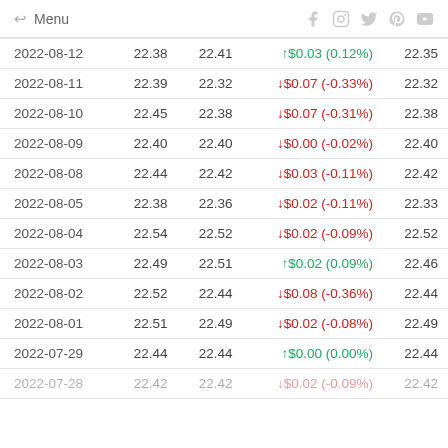← Menu  [social icons: Facebook, Instagram, Twitter, Pinterest, YouTube]
| Date | Open | Close | Change | Adj Close |
| --- | --- | --- | --- | --- |
| 2022-08-12 | 22.38 | 22.41 | ↑$0.03 (0.12%) | 22.35 |
| 2022-08-11 | 22.39 | 22.32 | ↓$0.07 (-0.33%) | 22.32 |
| 2022-08-10 | 22.45 | 22.38 | ↓$0.07 (-0.31%) | 22.38 |
| 2022-08-09 | 22.40 | 22.40 | ↓$0.00 (-0.02%) | 22.40 |
| 2022-08-08 | 22.44 | 22.42 | ↓$0.03 (-0.11%) | 22.42 |
| 2022-08-05 | 22.38 | 22.36 | ↓$0.02 (-0.11%) | 22.33 |
| 2022-08-04 | 22.54 | 22.52 | ↓$0.02 (-0.09%) | 22.52 |
| 2022-08-03 | 22.49 | 22.51 | ↑$0.02 (0.09%) | 22.46 |
| 2022-08-02 | 22.52 | 22.44 | ↓$0.08 (-0.36%) | 22.44 |
| 2022-08-01 | 22.51 | 22.49 | ↓$0.02 (-0.08%) | 22.49 |
| 2022-07-29 | 22.44 | 22.44 | ↑$0.00 (0.00%) | 22.44 |
| 2022-07-28 | 22.42 | 22.42 | ↓$0.02 (-0.09%) | 22.42 |